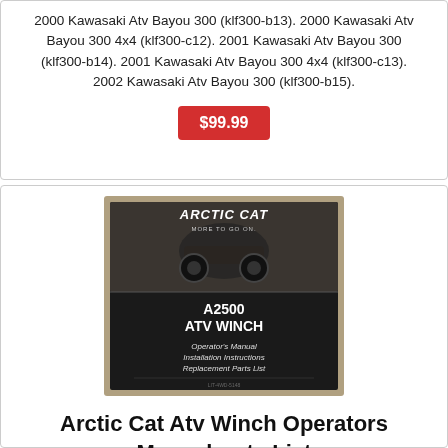2000 Kawasaki Atv Bayou 300 (klf300-b13). 2000 Kawasaki Atv Bayou 300 4x4 (klf300-c12). 2001 Kawasaki Atv Bayou 300 (klf300-b14). 2001 Kawasaki Atv Bayou 300 4x4 (klf300-c13). 2002 Kawasaki Atv Bayou 300 (klf300-b15).
$99.99
[Figure (photo): Arctic Cat A2500 ATV Winch Operator's Manual cover — black background with Arctic Cat logo, ATV image, and text listing Operator's Manual, Installation Instructions, Replacement Parts List]
Arctic Cat Atv Winch Operators Manualparts List